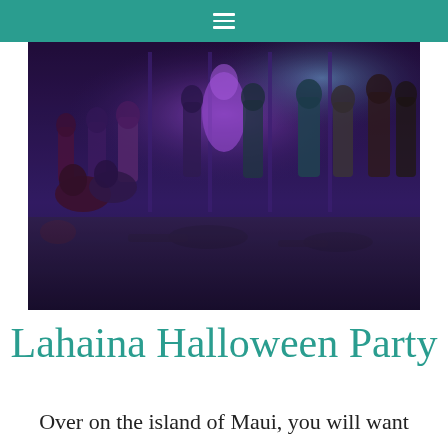≡
[Figure (photo): Group of people in Halloween costumes and zombie makeup posing on a street at night, lit with purple and blue lights]
Lahaina Halloween Party
Over on the island of Maui, you will want